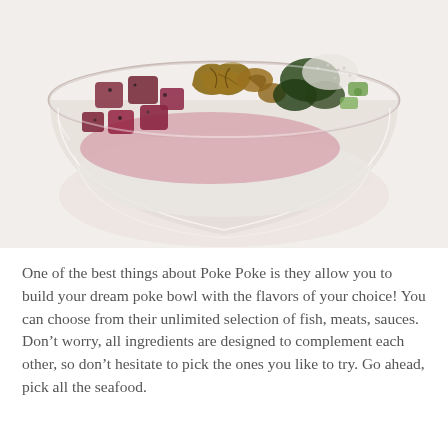[Figure (photo): A glass bowl filled with a poke bowl: cubed raw tuna, walnuts, seaweed, sesame seeds, and rice visible through the glass bowl, on a white background.]
One of the best things about Poke Poke is they allow you to build your dream poke bowl with the flavors of your choice! You can choose from their unlimited selection of fish, meats, sauces. Don't worry, all ingredients are designed to complement each other, so don't hesitate to pick the ones you like to try. Go ahead, pick all the seafood.